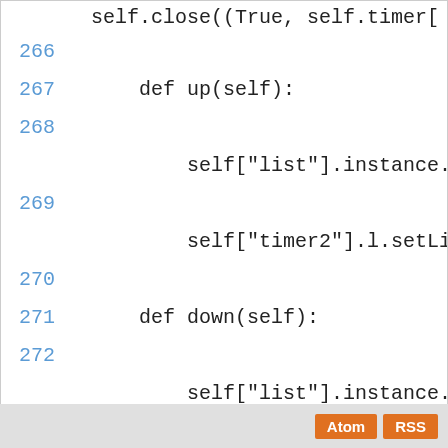self.close((True, self.timer[
266
267    def up(self):
268
268        self["list"].instance.moveSel
269
269        self["timer2"].l.setList(self
270
271    def down(self):
272
272        self["list"].instance.moveSel
273
273        self["timer2"].l.setList(self
Clone of git://git.opendreambox.org/git/enigma2....
Atom  RSS